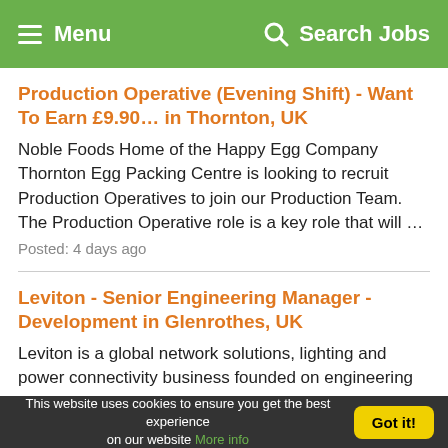Menu  Search Jobs
Production Operative (Evening Shift) - Want To Earn £9.90... in Thornton, UK
Noble Foods Home of the Happy Egg Company Thornton Egg Packing Centre is looking to recruit Production Operatives to join our Production Team. The Production Operative role is a key role that will …
Posted: 4 days ago
Leviton - Senior Engineering Manager - Development in Glenrothes, UK
Leviton is a global network solutions, lighting and power connectivity business founded on engineering innovation which supports customers across a variety of residential, commercial and industrial …
This website uses cookies to ensure you get the best experience on our website More info  Got it!